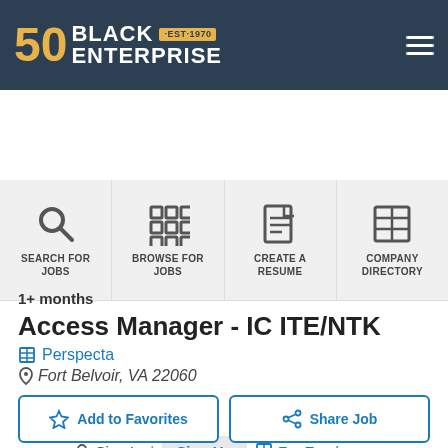[Figure (logo): Black Enterprise 50th anniversary logo with EST 1970 badge on dark blue header with hamburger menu]
[Figure (infographic): Navigation bar with four icon buttons: Search For Jobs, Browse For Jobs, Create A Resume, Company Directory]
Sign In | Sign Up   For Employers
1+ months
Access Manager - IC ITE/NTK
Perspecta
Fort Belvoir, VA 22060
Add to Favorites   Share Job